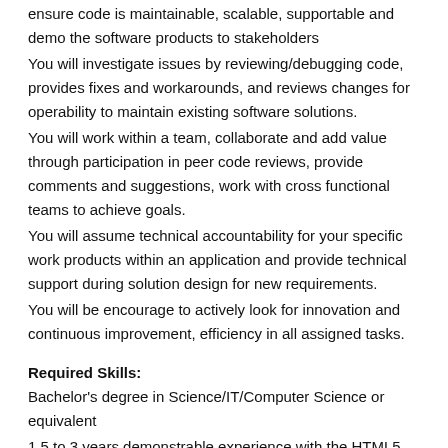ensure code is maintainable, scalable, supportable and demo the software products to stakeholders
You will investigate issues by reviewing/debugging code, provides fixes and workarounds, and reviews changes for operability to maintain existing software solutions.
You will work within a team, collaborate and add value through participation in peer code reviews, provide comments and suggestions, work with cross functional teams to achieve goals.
You will assume technical accountability for your specific work products within an application and provide technical support during solution design for new requirements.
You will be encourage to actively look for innovation and continuous improvement, efficiency in all assigned tasks.
Required Skills:
Bachelor's degree in Science/IT/Computer Science or equivalent
1.5 to 3 years demonstrable experience with the HTML5, CSS, Java Script, React/Redux, nodejs Advance JavaScript, Typescript,